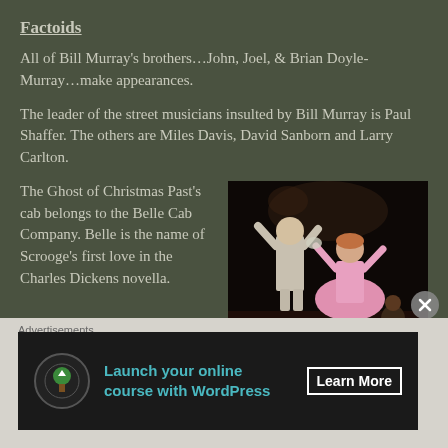Factoids
All of Bill Murray's brothers...John, Joel, & Brian Doyle-Murray...make appearances.
The leader of the street musicians insulted by Bill Murray is Paul Shaffer. The others are Miles Davis, David Sanborn and Larry Carlton.
[Figure (photo): Two people in costume on a stage, one in a white suit and one in a pink dress, with a puppet or figure visible in the background.]
The Ghost of Christmas Past's cab belongs to the Belle Cab Company. Belle is the name of Scrooge's first love in the Charles Dickens novella.
Preston tells Frank that in America there are 27 million cats & 48 million dogs and says that IBC needs to...
Advertisements
Launch your online course with WordPress   Learn More